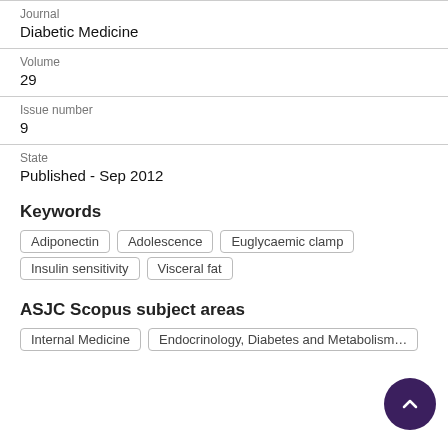Journal
Diabetic Medicine
Volume
29
Issue number
9
State
Published - Sep 2012
Keywords
Adiponectin
Adolescence
Euglycaemic clamp
Insulin sensitivity
Visceral fat
ASJC Scopus subject areas
Internal Medicine
Endocrinology, Diabetes and Metabolism…